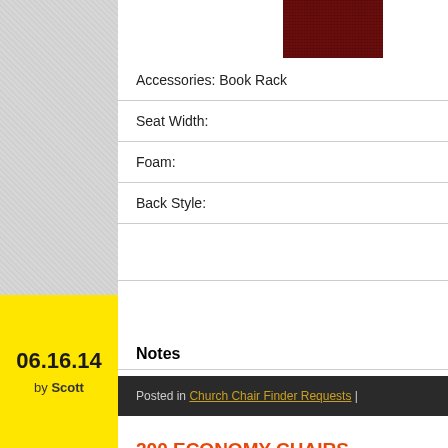[Figure (photo): Dark red/maroon fabric swatch at top of main content area]
Accessories: Book Rack
Seat Width:
Foam:
Back Style:
Notes
Posted in Church Chair Finder Requests |
06.16.14
by Scott
200 ECONOMY CHAIRS FOR $6,990.00 TO 24739